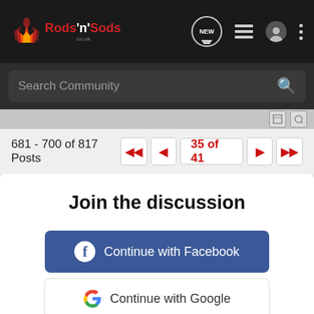Rods 'n' Sods - Navigation bar with logo, NEW, list, user, and menu icons
Search Community
681 - 700 of 817 Posts
35 of 41
Join the discussion
Continue with Facebook
Continue with Google
or sign up with email